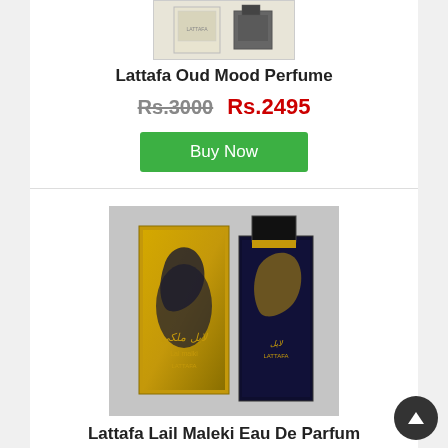[Figure (photo): Two perfume bottles - Lattafa Oud Mood Perfume product image]
Lattafa Oud Mood Perfume
Rs.3000  Rs.2495
Buy Now
[Figure (photo): Lattafa Lail Maleki Eau De Parfum - dark blue and gold box with perfume bottle featuring horse calligraphy design]
Lattafa Lail Maleki Eau De Parfum